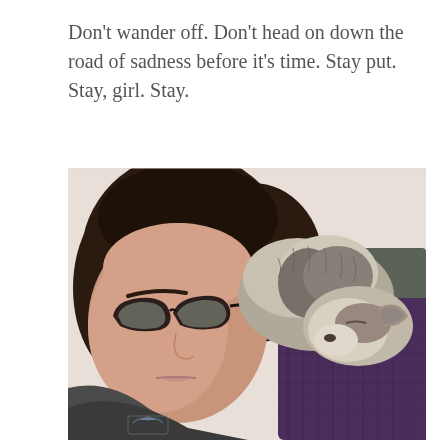Don't wander off. Don't head on down the road of sadness before it's time. Stay put. Stay, girl. Stay.
[Figure (photo): A selfie of a woman with dark curly hair and cat-eye glasses, with a small fluffy grey and white dog resting on her shoulder on a purple knitted cushion/chair. The woman is wearing a dark grey t-shirt and has a small tattoo visible on her arm.]